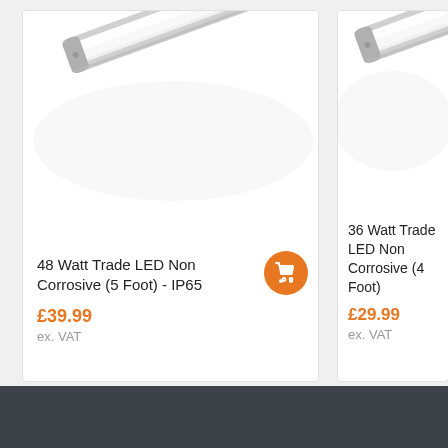[Figure (photo): 48 Watt Trade LED Non Corrosive 5 Foot IP65 light fitting - diagonal view of elongated white LED batten with grey end caps]
48 Watt Trade LED Non Corrosive (5 Foot) - IP65
£39.99
ex. VAT
[Figure (photo): 36 Watt Trade LED Non Corrosive 4 Foot light fitting - diagonal view of elongated white LED batten with grey end caps (partially cropped)]
36 Watt Trade LED Non Corrosive (4 Foot)
£29.99
ex. VAT